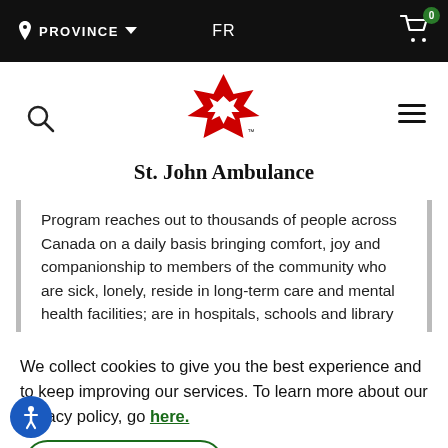PROVINCE  FR  0
[Figure (logo): St. John Ambulance logo — red maple leaf with white Maltese cross]
St. John Ambulance
Program reaches out to thousands of people across Canada on a daily basis bringing comfort, joy and companionship to members of the community who are sick, lonely, reside in long-term care and mental health facilities; are in hospitals, schools and library settings...
We collect cookies to give you the best experience and to keep improving our services. To learn more about our privacy policy, go here.
OK, GOT IT